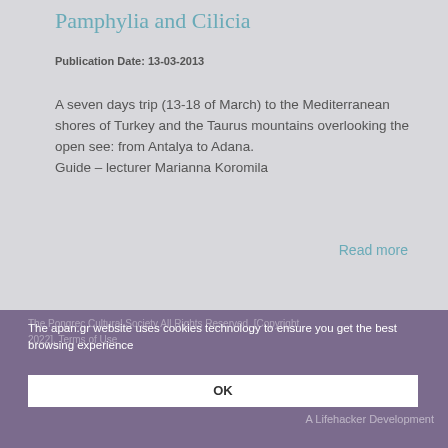Pamphylia and Cilicia
Publication Date: 13-03-2013
A seven days trip (13-18 of March) to the Mediterranean shores of Turkey and the Taurus mountains overlooking the open see: from Antalya to Adana.
Guide – lecturer Marianna Koromila
Read more
The apan.gr website uses cookies technology to ensure you get the best browsing experience
OK
The Pongrec Cultural Society All Rights Reserved. [Copyright 2022]. Terms of Use      A Lifehacker Development